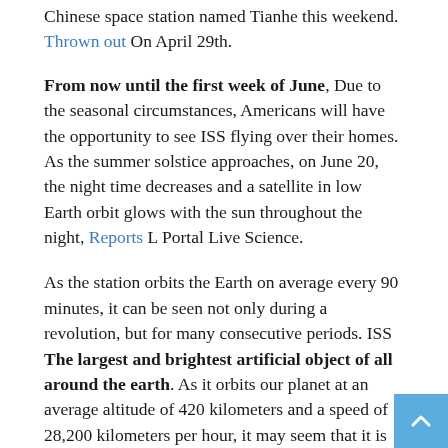Chinese space station named Tianhe this weekend. Thrown out On April 29th.
From now until the first week of June, Due to the seasonal circumstances, Americans will have the opportunity to see ISS flying over their homes. As the summer solstice approaches, on June 20, the night time decreases and a satellite in low Earth orbit glows with the sun throughout the night, Reports L Portal Live Science.
As the station orbits the Earth on average every 90 minutes, it can be seen not only during a revolution, but for many consecutive periods. ISS The largest and brightest artificial object of all around the earth. As it orbits our planet at an average altitude of 420 kilometers and a speed of 28,200 kilometers per hour, it may seem that it is moving as fast as a high-flying passenger plane.